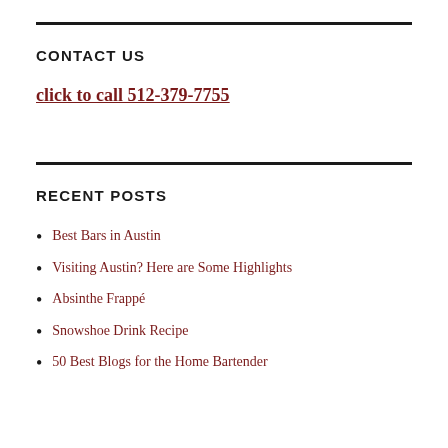CONTACT US
click to call 512-379-7755
RECENT POSTS
Best Bars in Austin
Visiting Austin? Here are Some Highlights
Absinthe Frappé
Snowshoe Drink Recipe
50 Best Blogs for the Home Bartender